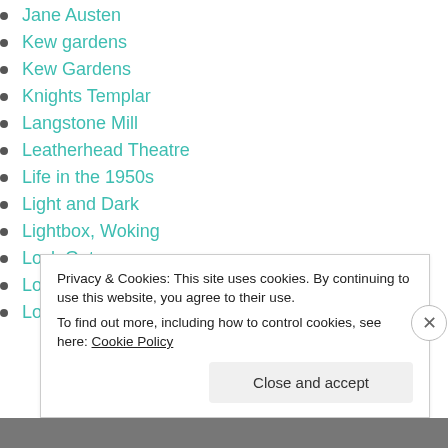Jane Austen
Kew gardens
Kew Gardens
Knights Templar
Langstone Mill
Leatherhead Theatre
Life in the 1950s
Light and Dark
Lightbox, Woking
Lock Gates
London
London Docklands
Privacy & Cookies: This site uses cookies. By continuing to use this website, you agree to their use.
To find out more, including how to control cookies, see here: Cookie Policy
Close and accept